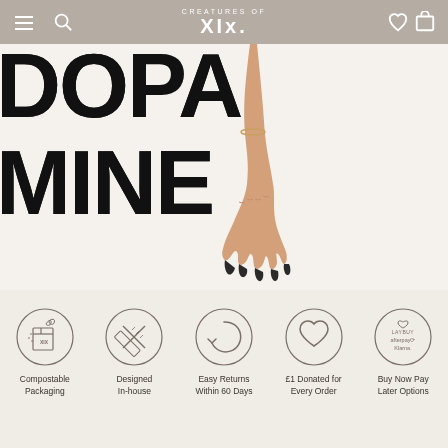CREATURES OF XIX — Navigation bar
[Figure (screenshot): Hero image showing a hand with dark nail art reaching down over large bold text spelling DOPAMINE on a light background]
[Figure (infographic): Five circular icons with labels: Compostable Packaging, Designed In-house, Easy Returns Within 60 Days, £1 Donated for Every Order, Buy Now Pay Later Options (Laybuy, Afterpay, Klarna)]